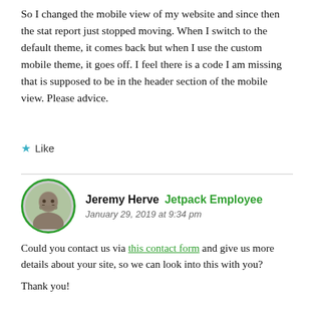So I changed the mobile view of my website and since then the stat report just stopped moving. When I switch to the default theme, it comes back but when I use the custom mobile theme, it goes off. I feel there is a code I am missing that is supposed to be in the header section of the mobile view. Please advice.
★ Like
Jeremy Herve  Jetpack Employee
January 29, 2019 at 9:34 pm
Could you contact us via this contact form and give us more details about your site, so we can look into this with you?
Thank you!